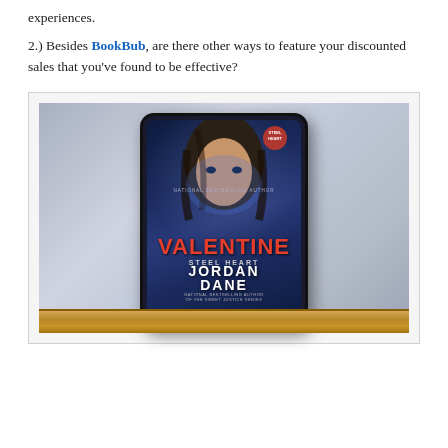experiences.
2.) Besides BookBub, are there other ways to feature your discounted sales that you've found to be effective?
[Figure (photo): A tablet device displaying the book cover of 'Valentine: Steel Heart' by Jordan Dane, standing on a wooden shelf against a blurred gray background. The cover features a male figure with long hair and the title in red text.]